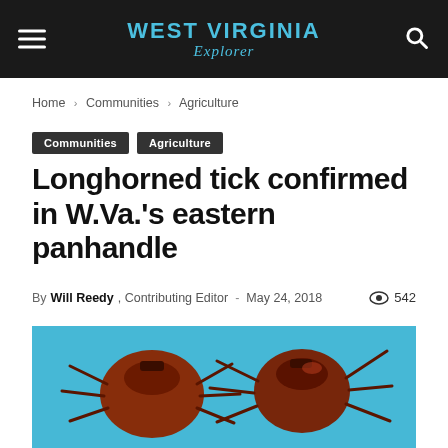WEST VIRGINIA Explorer
Home › Communities › Agriculture
Communities  Agriculture
Longhorned tick confirmed in W.Va.'s eastern panhandle
By Will Reedy, Contributing Editor - May 24, 2018   542
[Figure (photo): Close-up macro photograph of two longhorned ticks (reddish-brown) against a bright blue background]